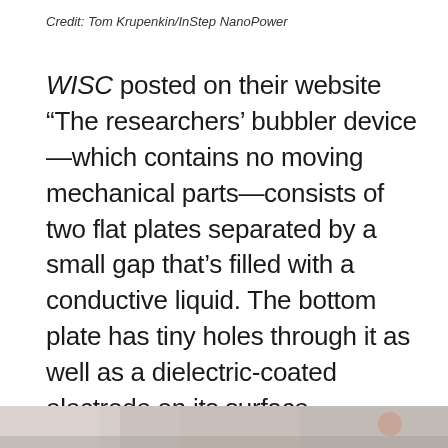Credit: Tom Krupenkin/InStep NanoPower
WISC posted on their website “The researchers’ bubbler device—which contains no moving mechanical parts—consists of two flat plates separated by a small gap that’s filled with a conductive liquid. The bottom plate has tiny holes through it as well as a dielectric-coated electrode on its surface. Pressurized gas blows up through the holes in the bottom plate, forming bubbles on each hole. These bubbles grow until they’re large enough to touch the top plate, which causes the bubble to collapse”.
[Figure (photo): Partial view of a photo at the bottom of the page, showing close-up imagery related to the bubbler device research.]